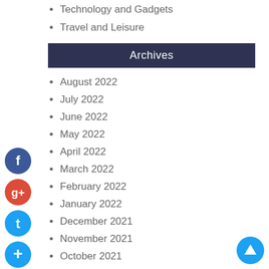Technology and Gadgets
Travel and Leisure
Archives
August 2022
July 2022
June 2022
May 2022
April 2022
March 2022
February 2022
January 2022
December 2021
November 2021
October 2021
September 2021
August 2021
July 2021
June 2021
May 2021
April 2021